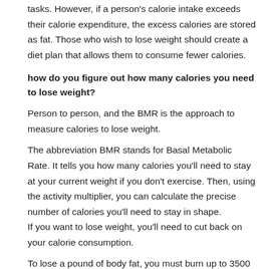tasks. However, if a person's calorie intake exceeds their calorie expenditure, the excess calories are stored as fat. Those who wish to lose weight should create a diet plan that allows them to consume fewer calories.
how do you figure out how many calories you need to lose weight?
Person to person, and the BMR is the approach to measure calories to lose weight.
The abbreviation BMR stands for Basal Metabolic Rate. It tells you how many calories you'll need to stay at your current weight if you don't exercise. Then, using the activity multiplier, you can calculate the precise number of calories you'll need to stay in shape. If you want to lose weight, you'll need to cut back on your calorie consumption.
To lose a pound of body fat, you must burn up to 3500 calories or